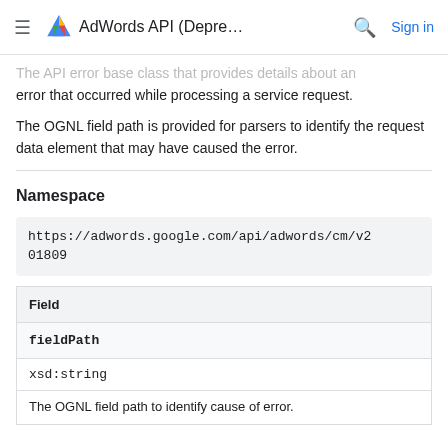AdWords API (Depre...  Sign in
The API error base class that provides details about an error that occurred while processing a service request.
The OGNL field path is provided for parsers to identify the request data element that may have caused the error.
Namespace
https://adwords.google.com/api/adwords/cm/v201809
| Field |
| --- |
| fieldPath |
| xsd:string |
| The OGNL field path to identify cause of error. |